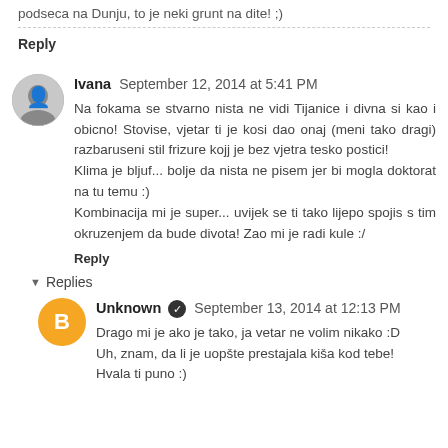podseca na Dunju, to je neki grunt na dite! ;)
Reply
Ivana  September 12, 2014 at 5:41 PM
Na fokama se stvarno nista ne vidi Tijanice i divna si kao i obicno! Stovise, vjetar ti je kosi dao onaj (meni tako dragi) razbaruseni stil frizure kojj je bez vjetra tesko postici!
Klima je bljuf... bolje da nista ne pisem jer bi mogla doktorat na tu temu :)
Kombinacija mi je super... uvijek se ti tako lijepo spojis s tim okruzenjem da bude divota! Zao mi je radi kule :/
Reply
Replies
Unknown  September 13, 2014 at 12:13 PM
Drago mi je ako je tako, ja vetar ne volim nikako :D
Uh, znam, da li je uopšte prestajala kiša kod tebe!
Hvala ti puno :)